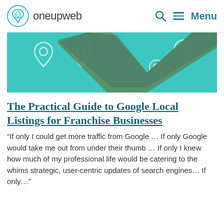oneupweb  Menu
[Figure (illustration): Teal/turquoise banner image with location pin icons and a large checkmark shape, with a city aerial photo overlaid on the checkmark]
The Practical Guide to Google Local Listings for Franchise Businesses
“If only I could get more traffic from Google … If only Google would take me out from under their thumb … If only I knew how much of my professional life would be catering to the whims strategic, user-centric updates of search engines… If only…”